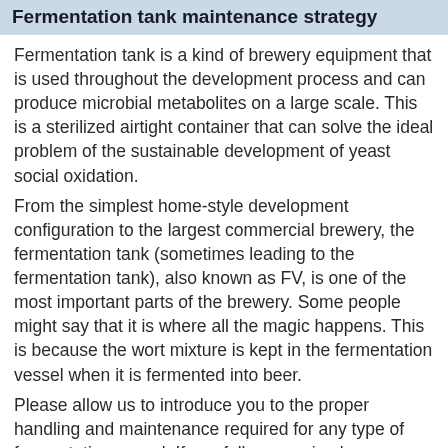Fermentation tank maintenance strategy
Fermentation tank is a kind of brewery equipment that is used throughout the development process and can produce microbial metabolites on a large scale. This is a sterilized airtight container that can solve the ideal problem of the sustainable development of yeast social oxidation.
From the simplest home-style development configuration to the largest commercial brewery, the fermentation tank (sometimes leading to the fermentation tank), also known as FV, is one of the most important parts of the brewery. Some people might say that it is where all the magic happens. This is because the wort mixture is kept in the fermentation vessel when it is fermented into beer.
Please allow us to introduce you to the proper handling and maintenance required for any type of fermentation vessel. If you follow our simple...